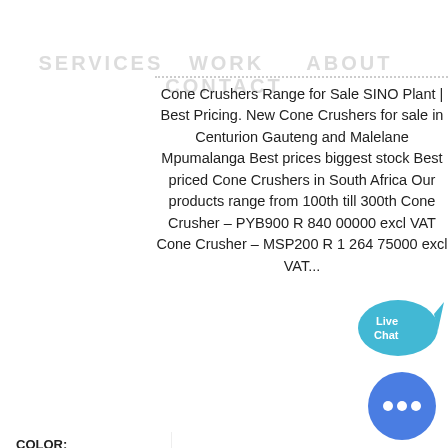SERVICES   WORK      ABOUT  CONTACT
Cone Crushers Range for Sale SINO Plant | Best Pricing. New Cone Crushers for sale in Centurion Gauteng and Malelane Mpumalanga Best prices biggest stock Best priced Cone Crushers in South Africa Our products range from 100th till 300th Cone Crusher – PYB900 R 840 00000 excl VAT Cone Crusher – MSP200 R 1 264 75000 excl VAT...
[Figure (other): Green 'More Details' button]
[Figure (other): Live Chat bubble icon with fish shape in blue]
COLOR:
Orange
Blue
Yellow
GOLD MINERS WITH EARNINGS
DXN CRUSHED BLUE LIMESTONE CRUSHED BLUE LIMESTONE FOR SALE